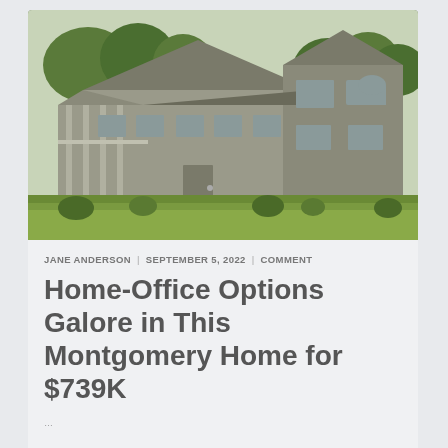[Figure (photo): Exterior photo of a large two-story craftsman/colonial style house with a wide covered front porch, gray siding, and a large open green lawn in the foreground. Trees visible in the background.]
JANE ANDERSON | SEPTEMBER 5, 2022 | COMMENT
Home-Office Options Galore in This Montgomery Home for $739K